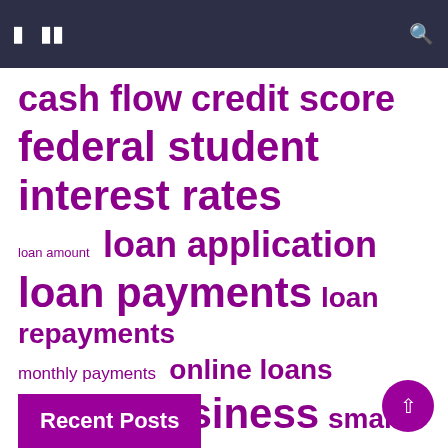Navigation bar with menu and search icons
cash flow  credit score  federal student interest rates  loan amount  loan application  loan payments  loan repayments  monthly payments  online loans  small business  small businesses  student loans  united states
Recent Posts